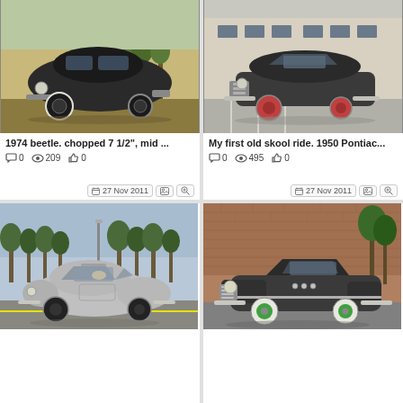[Figure (photo): 1974 VW Beetle chopped custom rat rod, matte black, parked on grass with autumn trees in background]
1974 beetle. chopped 7 1/2", mid ...
💬 0   👁 209   👍 0
27 Nov 2011
[Figure (photo): 1950 Pontiac old school ride, dark matte grey with red wheels, parked in a parking lot near a building]
My first old skool ride. 1950 Pontiac...
💬 0   👁 495   👍 0
27 Nov 2011
[Figure (photo): Silver VW Beetle, side view, parked in a parking lot with trees and sky in background]
[Figure (photo): Dark grey classic car (1950s Buick style) with white wall tires and green wheel accents, parked in front of brick building]